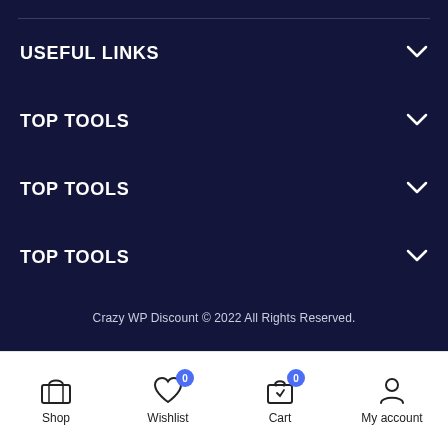USEFUL LINKS
TOP TOOLS
TOP TOOLS
TOP TOOLS
Crazy WP Discount © 2022 All Rights Reserved.
Shop  Wishlist 0  Cart 0  My account